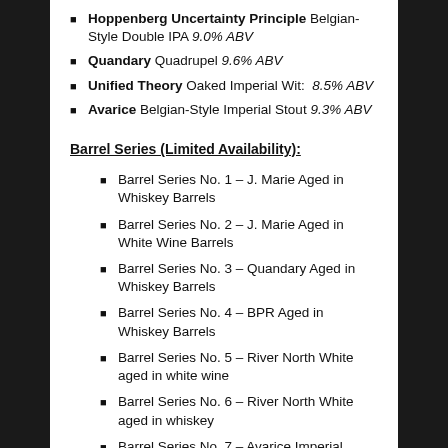Hoppenberg Uncertainty Principle Belgian-Style Double IPA 9.0% ABV
Quandary Quadrupel 9.6% ABV
Unified Theory Oaked Imperial Wit: 8.5% ABV
Avarice Belgian-Style Imperial Stout 9.3% ABV
Barrel Series (Limited Availability):
Barrel Series No. 1 – J. Marie Aged in Whiskey Barrels
Barrel Series No. 2 – J. Marie Aged in White Wine Barrels
Barrel Series No. 3 – Quandary Aged in Whiskey Barrels
Barrel Series No. 4 – BPR Aged in Whiskey Barrels
Barrel Series No. 5 – River North White aged in white wine
Barrel Series No. 6 – River North White aged in whiskey
Barrel Series No. 7 – Avarice Imperial Stout